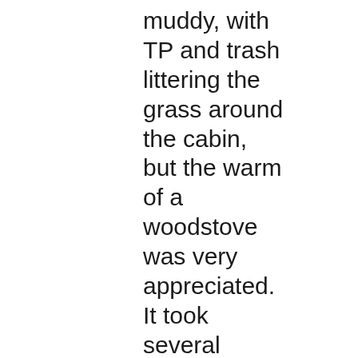muddy, with TP and trash littering the grass around the cabin, but the warm of a woodstove was very appreciated. It took several hours for my feet to recover from the cold float